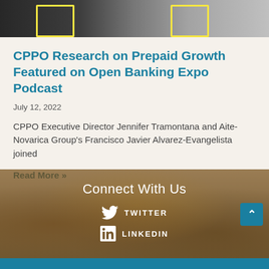[Figure (photo): Top banner image showing people with yellow frame accents overlaid]
CPPO Research on Prepaid Growth Featured on Open Banking Expo Podcast
July 12, 2022
CPPO Executive Director Jennifer Tramontana and Aite-Novarica Group's Francisco Javier Alvarez-Evangelista joined
Read More »
Connect With Us
TWITTER
LINKEDIN